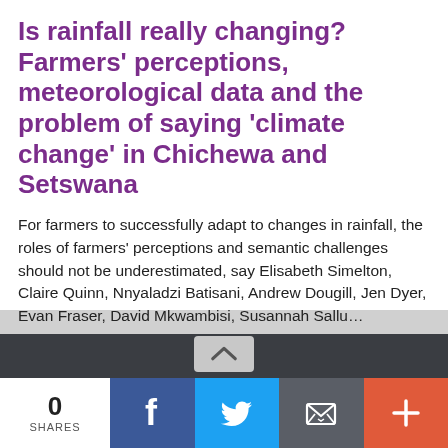Is rainfall really changing? Farmers' perceptions, meteorological data and the problem of saying 'climate change' in Chichewa and Setswana
For farmers to successfully adapt to changes in rainfall, the roles of farmers' perceptions and semantic challenges should not be underestimated, say Elisabeth Simelton, Claire Quinn, Nnyaladzi Batisani, Andrew Dougill, Jen Dyer, Evan Fraser, David Mkwambisi, Susannah Sallu...
Agroforestry World © 2022. All Rights Reserved.